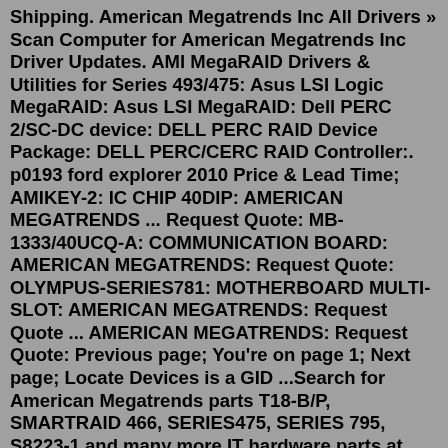Shipping. American Megatrends Inc All Drivers » Scan Computer for American Megatrends Inc Driver Updates. AMI MegaRAID Drivers & Utilities for Series 493/475: Asus LSI Logic MegaRAID: Asus LSI MegaRAID: Dell PERC 2/SC-DC device: DELL PERC RAID Device Package: DELL PERC/CERC RAID Controller:. p0193 ford explorer 2010 Price & Lead Time; AMIKEY-2: IC CHIP 40DIP: AMERICAN MEGATRENDS ... Request Quote: MB-1333/40UCQ-A: COMMUNICATION BOARD: AMERICAN MEGATRENDS: Request Quote: OLYMPUS-SERIES781: MOTHERBOARD MULTI-SLOT: AMERICAN MEGATRENDS: Request Quote ... AMERICAN MEGATRENDS: Request Quote: Previous page; You're on page 1; Next page; Locate Devices is a GID ...Search for American Megatrends parts T18-B/P, SMARTRAID 466, SERIES475, SERIES 795, S8223-1 and many more IT hardware parts at Aviation Orbit. 100% inspected parts with instant delivery. Foxconn 650M02-G-6L Socket 478 motherboard with onboard LAN 1AGP 2PCI &